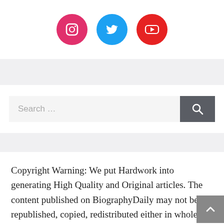[Figure (illustration): Three social media icons in circles: Instagram (pink/magenta), Twitter (blue), YouTube (red)]
[Figure (screenshot): Search bar with placeholder text 'Search ...' and a dark gray search button with magnifying glass icon]
Copyright Warning: We put Hardwork into generating High Quality and Original articles. The content published on BiographyDaily may not be republished, copied, redistributed either in whole or in part without Acknowledgement or due